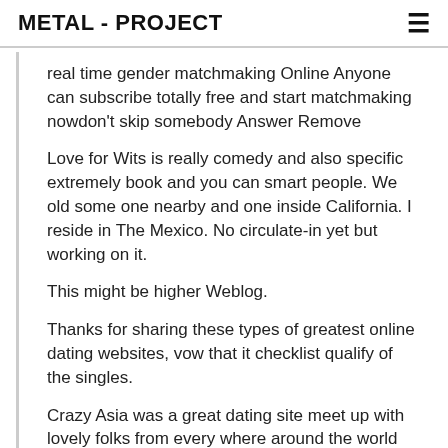METAL - PROJECT
real time gender matchmaking Online Anyone can subscribe totally free and start matchmaking nowdon’t skip somebody Answer Remove
Love for Wits is really comedy and also specific extremely book and you can smart people. We old some one nearby and one inside California. I reside in The Mexico. No circulate-in yet but working on it.
This might be higher Weblog.
Thanks for sharing these types of greatest online dating websites, vow that it checklist qualify of the singles.
Crazy Asia was a great dating site meet up with lovely folks from every where around the world